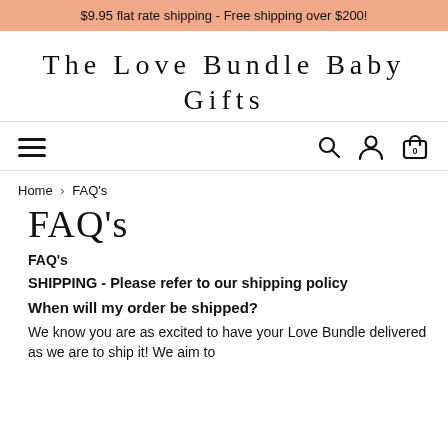$9.95 flat rate shipping - Free shipping over $200!
The Love Bundle Baby Gifts
[Figure (other): Navigation bar with hamburger menu icon on left and search, user account, and cart (0) icons on right]
Home > FAQ's
FAQ's
FAQ's
SHIPPING  - Please refer to our shipping policy
When will my order be shipped?
We know you are as excited to have your Love Bundle delivered as we are to ship it! We aim to